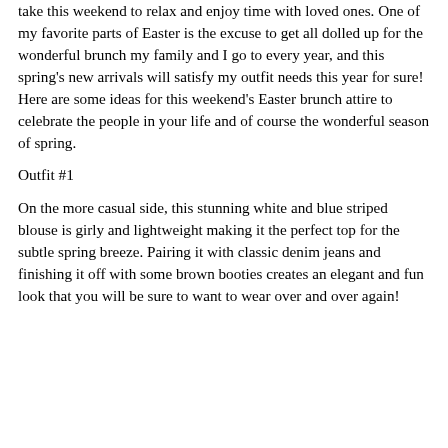take this weekend to relax and enjoy time with loved ones. One of my favorite parts of Easter is the excuse to get all dolled up for the wonderful brunch my family and I go to every year, and this spring's new arrivals will satisfy my outfit needs this year for sure! Here are some ideas for this weekend's Easter brunch attire to celebrate the people in your life and of course the wonderful season of spring.
Outfit #1
On the more casual side, this stunning white and blue striped blouse is girly and lightweight making it the perfect top for the subtle spring breeze. Pairing it with classic denim jeans and finishing it off with some brown booties creates an elegant and fun look that you will be sure to want to wear over and over again!